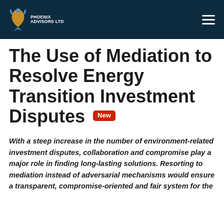Phoenix Advisors Ltd
The Use of Mediation to Resolve Energy Transition Investment Disputes [New]
With a steep increase in the number of environment-related investment disputes, collaboration and compromise play a major role in finding long-lasting solutions. Resorting to mediation instead of adversarial mechanisms would ensure a transparent, compromise-oriented and fair system for the